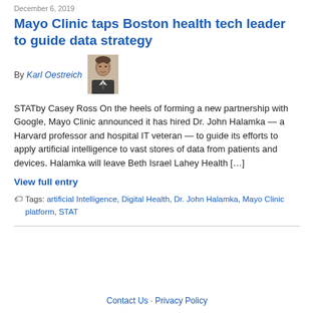December 6, 2019
Mayo Clinic taps Boston health tech leader to guide data strategy
By Karl Oestreich
[Figure (photo): Black and white portrait photo of Karl Oestreich]
STATby Casey Ross On the heels of forming a new partnership with Google, Mayo Clinic announced it has hired Dr. John Halamka — a Harvard professor and hospital IT veteran — to guide its efforts to apply artificial intelligence to vast stores of data from patients and devices. Halamka will leave Beth Israel Lahey Health […]
View full entry
Tags: artificial Intelligence, Digital Health, Dr. John Halamka, Mayo Clinic platform, STAT
Contact Us · Privacy Policy